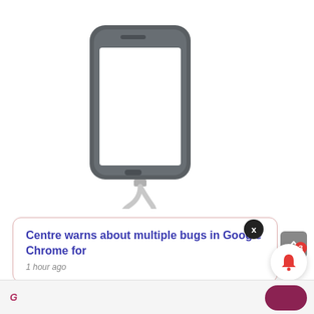[Figure (illustration): A smartphone with a USB charging cable coiled beneath it, illustration style with gray phone body and white screen]
Centre warns about multiple bugs in Google Chrome for
1 hour ago
x
[Figure (illustration): Bell notification icon with red badge showing number 3, and a scroll-to-top button in gray]
3